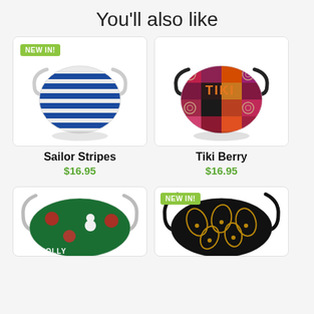You'll also like
[Figure (photo): Face mask with blue and white horizontal sailor stripes, with NEW IN! badge]
Sailor Stripes
$16.95
[Figure (photo): Face mask with colorful Tiki Berry patchwork pattern in reds, oranges and browns]
Tiki Berry
$16.95
[Figure (photo): Face mask with green background and Christmas/holiday pattern showing snowman, with HOLLY text visible]
[Figure (photo): Face mask with black background and golden paisley/floral pattern, with NEW IN! badge]